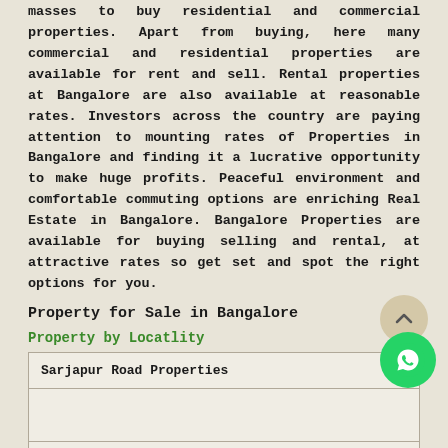masses to buy residential and commercial properties. Apart from buying, here many commercial and residential properties are available for rent and sell. Rental properties at Bangalore are also available at reasonable rates. Investors across the country are paying attention to mounting rates of Properties in Bangalore and finding it a lucrative opportunity to make huge profits. Peaceful environment and comfortable commuting options are enriching Real Estate in Bangalore. Bangalore Properties are available for buying selling and rental, at attractive rates so get set and spot the right options for you.
Property for Sale in Bangalore
Property by Locatlity
| Property | Count |
| --- | --- |
| Sarjapur Road Properties | (4) |
|  |  |
|  |  |